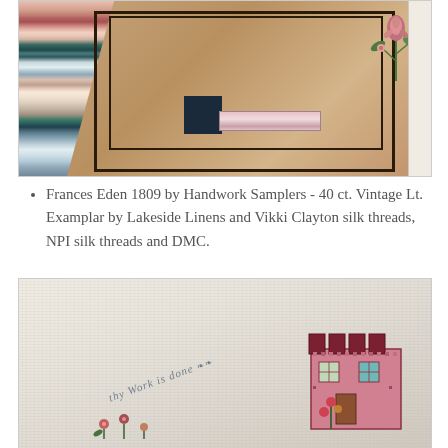[Figure (photo): Close-up photograph of a cross-stitch embroidery work in progress on tan/brown linen fabric. Colorful silk threads in pink, red, teal, and white are visible on the left. The embroidery shows a geometric frame outline with a dark navy square and pink/white stripe accent. A floral motif is visible in the upper right corner. A white frame border is visible on the right edge.]
Frances Eden 1809 by Handwork Samplers - 40 ct. Vintage Lt. Examplar by Lakeside Linens and Vikki Clayton silk threads, NPI silk threads and DMC.
[Figure (photo): Close-up photograph of a completed cross-stitch sampler on cream/off-white linen. The sampler shows a house/building motif in burgundy/mauve and pink with colorful floral elements. Cursive text reading 'thy Work is done' is visible in the lower center. The linen has a natural textured appearance.]